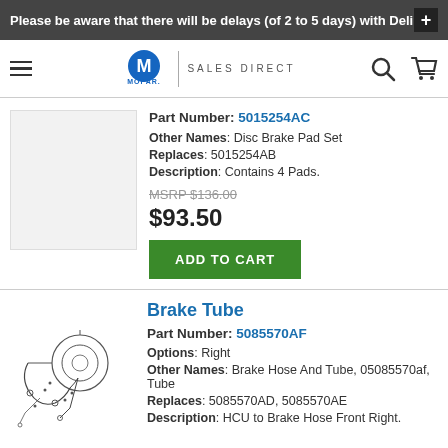Please be aware that there will be delays (of 2 to 5 days) with Deli
[Figure (logo): Mopar Sales Direct logo with hamburger menu, search icon, and cart icon navigation bar]
Part Number: 5015254AC
Other Names: Disc Brake Pad Set
Replaces: 5015254AB
Description: Contains 4 Pads.
MSRP $136.00
$93.50
ADD TO CART
Brake Tube
[Figure (illustration): Brake tube assembly diagram showing brake hose and tube components]
Part Number: 5085570AF
Options: Right
Other Names: Brake Hose And Tube, 05085570af, Tube
Replaces: 5085570AD, 5085570AE
Description: HCU to Brake Hose Front Right.